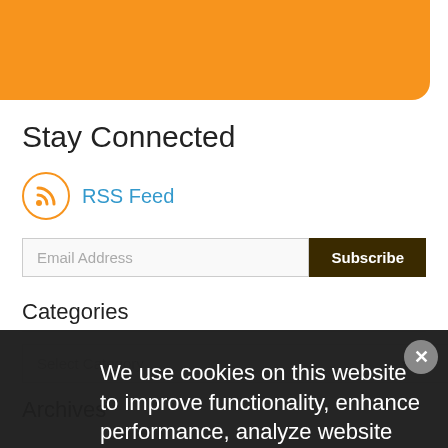[Figure (other): Orange banner/header strip at the top of the page]
Stay Connected
RSS Feed
Email Address [Subscribe button]
Categories
Select Category
Archives
We use cookies on this website to improve functionality, enhance performance, analyze website traffic and to enable social media features. To learn more, please see our Privacy Policy and our Terms & Conditions for additional detail.